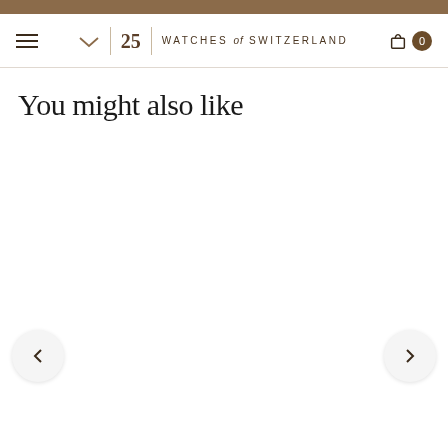WATCHES of SWITZERLAND
You might also like